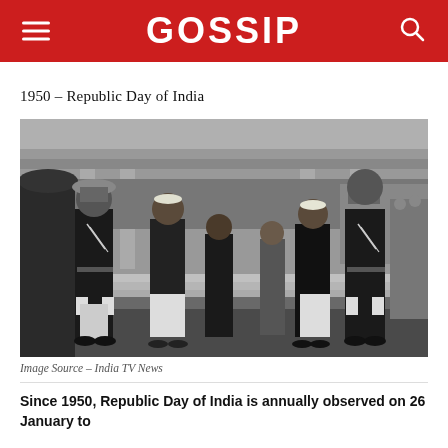GOSSIP
1950 – Republic Day of India
[Figure (photo): Black and white photograph from 1950 showing officials and military guards in ceremonial dress standing at attention during the first Republic Day of India, with a large government building in the background.]
Image Source – India TV News
Since 1950, Republic Day of India is annually observed on 26 January to